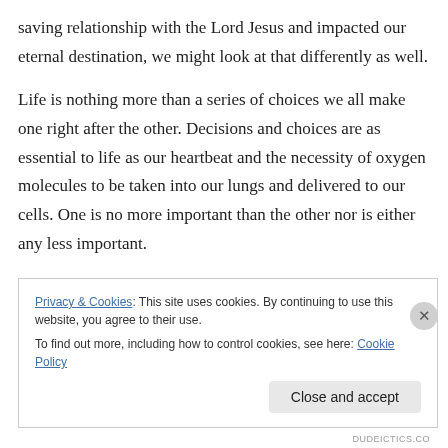saving relationship with the Lord Jesus and impacted our eternal destination, we might look at that differently as well.
Life is nothing more than a series of choices we all make one right after the other. Decisions and choices are as essential to life as our heartbeat and the necessity of oxygen molecules to be taken into our lungs and delivered to our cells. One is no more important than the other nor is either any less important.
Privacy & Cookies: This site uses cookies. By continuing to use this website, you agree to their use.
To find out more, including how to control cookies, see here: Cookie Policy
Close and accept